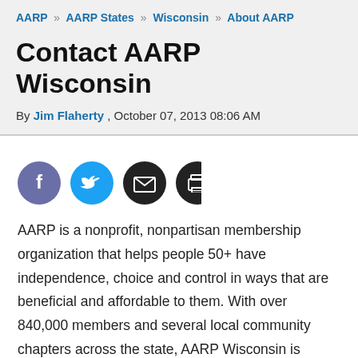AARP » AARP States » Wisconsin » About AARP
Contact AARP Wisconsin
By Jim Flaherty , October 07, 2013 08:06 AM
[Figure (infographic): Social sharing icons: Facebook (purple circle), Twitter (blue circle), Email (black circle), Print (black circle)]
AARP is a nonprofit, nonpartisan membership organization that helps people 50+ have independence, choice and control in ways that are beneficial and affordable to them. With over 840,000 members and several local community chapters across the state, AARP Wisconsin is making a difference for older people and their families.
AARP Wisconsin is open Monday through Friday, from